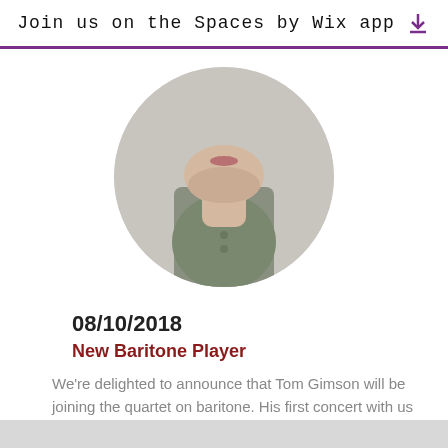Join us on the Spaces by Wix app
[Figure (photo): Circular cropped portrait photo of a young man wearing a grey-green shirt, showing his lower face and neck/torso area against a light grey background.]
08/10/2018
New Baritone Player
We're delighted to announce that Tom Gimson will be joining the quartet on baritone. His first concert with us will be on 9th November at Sittingbourne Music Society. We're really excited to have him on board!